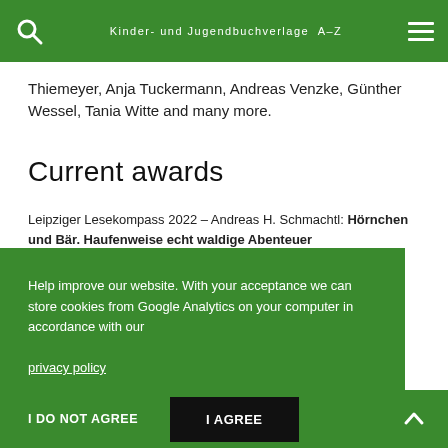Kinder- und Jugendbuchverlage A-Z
Thiemeyer, Anja Tuckermann, Andreas Venzke, Günther Wessel, Tania Witte and many more.
Current awards
Leipziger Lesekompass 2022 – Andreas H. Schmachtl: Hörnchen und Bär. Haufenweise echt waldige Abenteuer
Help improve our website. With your acceptance we can store cookies from Google Analytics on your computer in accordance with our privacy policy
I DO NOT AGREE
I AGREE